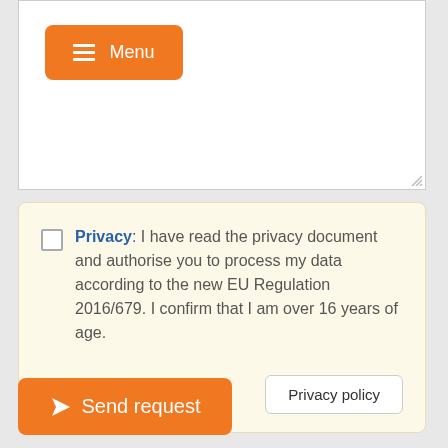[Figure (screenshot): Orange menu button with hamburger icon and text 'Menu' on white textarea background]
Privacy: I have read the privacy document and authorise you to process my data according to the new EU Regulation 2016/679. I confirm that I am over 16 years of age.
Privacy policy
Send request